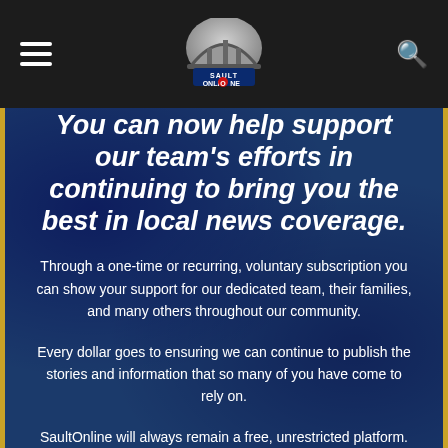SaultOnline navigation header with hamburger menu and search icon
You can now help support our team's efforts in continuing to bring you the best in local news coverage.
Through a one-time or recurring, voluntary subscription you can show your support for our dedicated team, their families, and many others throughout our community.
Every dollar goes to ensuring we can continue to publish the stories and information that so many of you have come to rely on.
SaultOnline will always remain a free, unrestricted platform. We appreciate each and every one of our dedicated viewers, and we will never lock you out of content that you previously had access to for